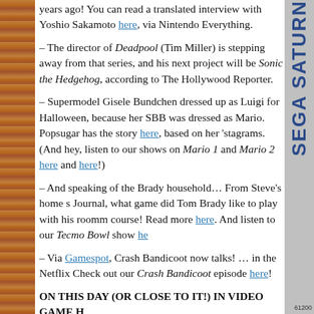years ago! You can read a translated interview with Yoshio Sakamoto here, via Nintendo Everything.
– The director of Deadpool (Tim Miller) is stepping away from that series, and his next project will be Sonic the Hedgehog, according to The Hollywood Reporter.
– Supermodel Gisele Bundchen dressed up as Luigi for Halloween, because her SBB was dressed as Mario. Popsugar has the story here, based on her 'stagrams. (And hey, listen to our shows on Mario 1 and Mario 2 here and here!)
– And speaking of the Brady household… From Steve's home Journal, what game did Tom Brady like to play with his roomm course! Read more here. And listen to our Tecmo Bowl show he
– Via Gamespot, Crash Bandicoot now talks! … in the Netflix Check out our Crash Bandicoot episode here!
ON THIS DAY (OR CLOSE TO IT!) IN VIDEO GAME H